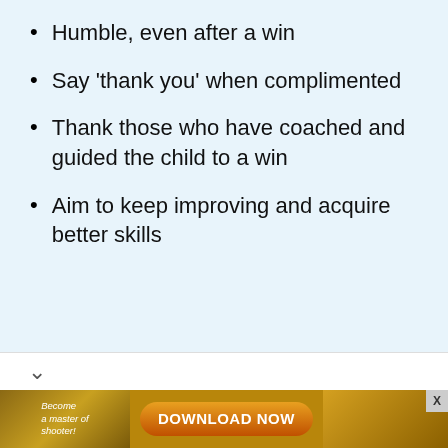Humble, even after a win
Say ‘thank you’ when complimented
Thank those who have coached and guided the child to a win
Aim to keep improving and acquire better skills
[Figure (infographic): Mobile app advertisement banner showing 'Become a master of shooter!' text on the left, a large orange 'DOWNLOAD NOW' button in the center, and a colorful game graphic on the right with a close button (X) in the top-right corner.]